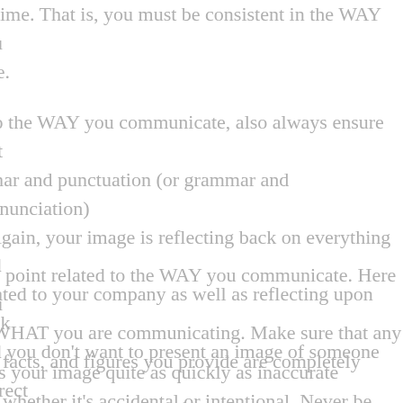ry time. That is, you must be consistent in the WAY you cate.
n to the WAY you communicate, also always ensure that mmar and punctuation (or grammar and pronunciation) t. Again, your image is reflecting back on everything and related to your company as well as reflecting upon back and you don't want to present an image of someone too rn the basic conventions of the English language!
ous point related to the WAY you communicate. Here you at WHAT you are communicating. Make sure that any on, facts, and figures you provide are completely correct sure that facts and opinions are clearly distinguishable.
uins your image quite as quickly as inaccurate on, whether it's accidental or intentional. Never be afraid